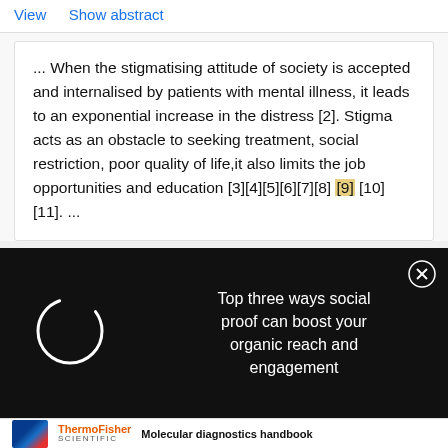View   Show abstract
... When the stigmatising attitude of society is accepted and internalised by patients with mental illness, it leads to an exponential increase in the distress [2]. Stigma acts as an obstacle to seeking treatment, social restriction, poor quality of life,it also limits the job opportunities and education [3][4][5][6][7][8] [9] [10][11]. ...
Top three ways social proof can boost your organic reach and engagement
Molecular diagnostics handbook